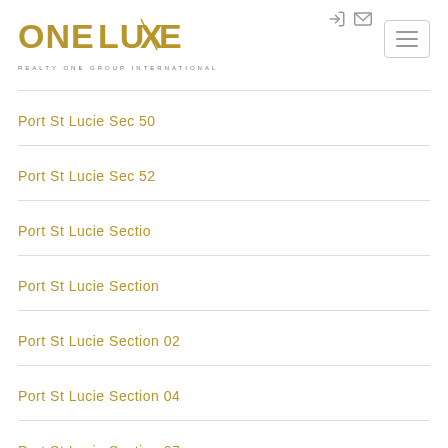ONELUXE REALTY ONE GROUP INTERNATIONAL
Port St Lucie Sec 50
Port St Lucie Sec 52
Port St Lucie Sectio
Port St Lucie Section
Port St Lucie Section 02
Port St Lucie Section 04
Port St Lucie Section 07